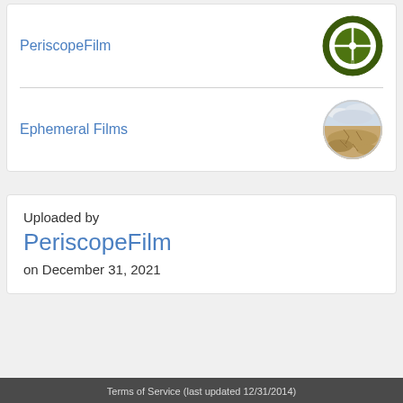PeriscopeFilm
[Figure (logo): PeriscopeFilm logo: dark green circle with crosshair/scope reticle inside a white ring]
Ephemeral Films
[Figure (photo): Ephemeral Films logo: circular thumbnail showing a sandy landscape with cracked dry earth and cloudy sky]
Uploaded by
PeriscopeFilm
on December 31, 2021
Terms of Service (last updated 12/31/2014)